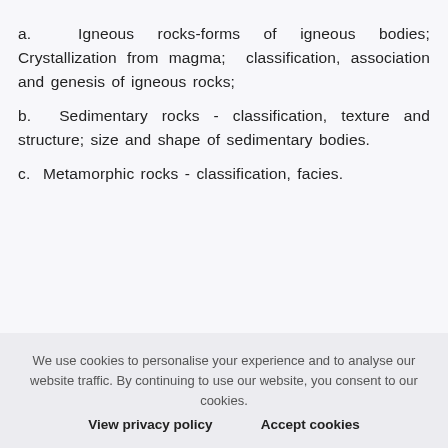a. Igneous rocks-forms of igneous bodies; Crystallization from magma; classification, association and genesis of igneous rocks;
b. Sedimentary rocks - classification, texture and structure; size and shape of sedimentary bodies.
c. Metamorphic rocks - classification, facies.
We use cookies to personalise your experience and to analyse our website traffic. By continuing to use our website, you consent to our cookies. View privacy policy   Accept cookies